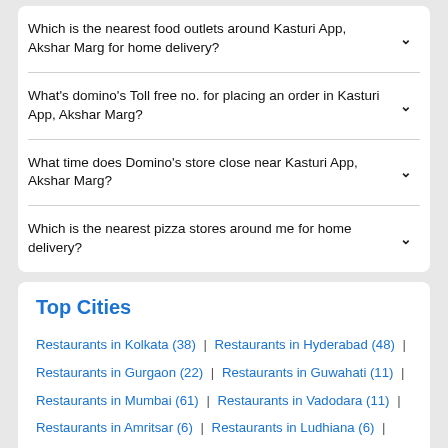Which is the nearest food outlets around Kasturi App, Akshar Marg for home delivery?
What's domino's Toll free no. for placing an order in Kasturi App, Akshar Marg?
What time does Domino's store close near Kasturi App, Akshar Marg?
Which is the nearest pizza stores around me for home delivery?
Top Cities
Restaurants in Kolkata (38) | Restaurants in Hyderabad (48) | Restaurants in Gurgaon (22) | Restaurants in Guwahati (11) | Restaurants in Mumbai (61) | Restaurants in Vadodara (11) | Restaurants in Amritsar (6) | Restaurants in Ludhiana (6) | Restaurants in Goa (14) | Restaurants in Noida (17) | Restaurants in Pune (49) | Restaurants in Indore (10) | Restaurants in Dehradun (6) | Restaurants in New Delhi (88) | Restaurants in Ahmedabad (27)